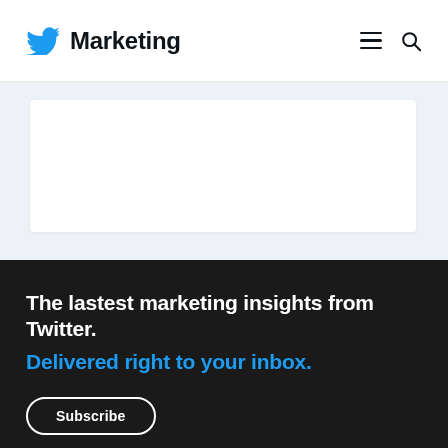Twitter Marketing
[Figure (other): White content card on light blue-gray background, partially visible]
The lastest marketing insights from Twitter. Delivered right to your inbox.
Subscribe